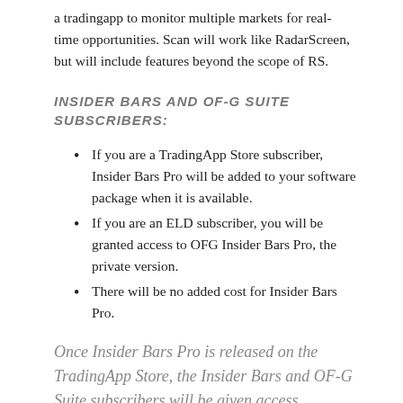a tradingapp to monitor multiple markets for real-time opportunities. Scan will work like RadarScreen, but will include features beyond the scope of RS.
INSIDER BARS AND OF-G SUITE SUBSCRIBERS:
If you are a TradingApp Store subscriber, Insider Bars Pro will be added to your software package when it is available.
If you are an ELD subscriber, you will be granted access to OFG Insider Bars Pro, the private version.
There will be no added cost for Insider Bars Pro.
Once Insider Bars Pro is released on the TradingApp Store, the Insider Bars and OF-G Suite subscribers will be given access.